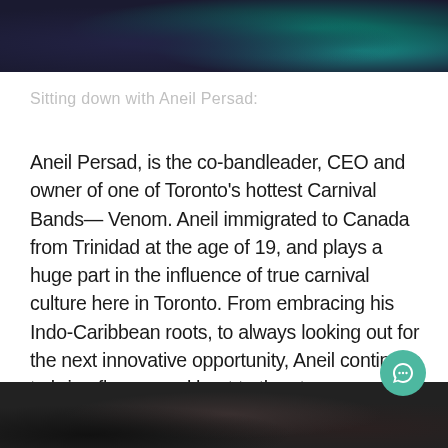[Figure (photo): Top portion of a photo showing people at what appears to be a carnival or festival event, partially cropped at top of page]
Sitting down with Aneil Persad:
Aneil Persad, is the co-bandleader, CEO and owner of one of Toronto's hottest Carnival Bands— Venom. Aneil immigrated to Canada from Trinidad at the age of 19, and plays a huge part in the influence of true carnival culture here in Toronto. From embracing his Indo-Caribbean roots, to always looking out for the next innovative opportunity, Aneil continues to bring flavour and heat to the stage
[Figure (photo): Bottom portion of a photo showing a group of people, partially cropped at bottom of page]